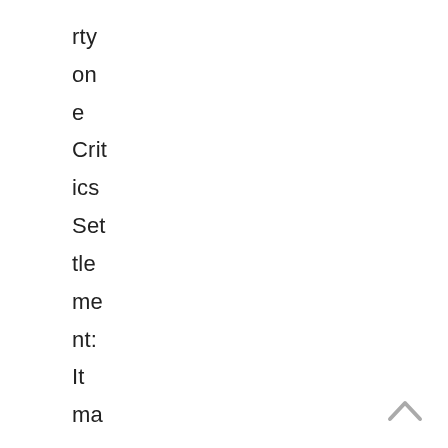rty on e Critics Settlement: It may be ac ad em